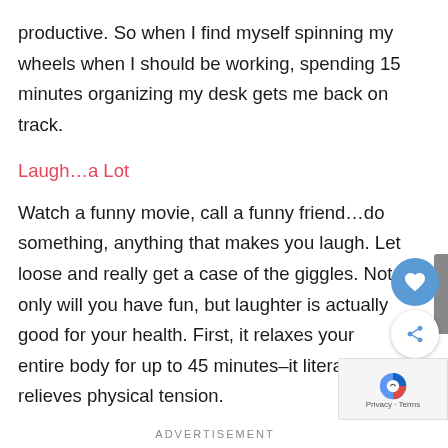productive. So when I find myself spinning my wheels when I should be working, spending 15 minutes organizing my desk gets me back on track.
Laugh…a Lot
Watch a funny movie, call a funny friend…do something, anything that makes you laugh. Let loose and really get a case of the giggles. Not only will you have fun, but laughter is actually good for your health. First, it relaxes your entire body for up to 45 minutes–it literally relieves physical tension.
ADVERTISEMENT